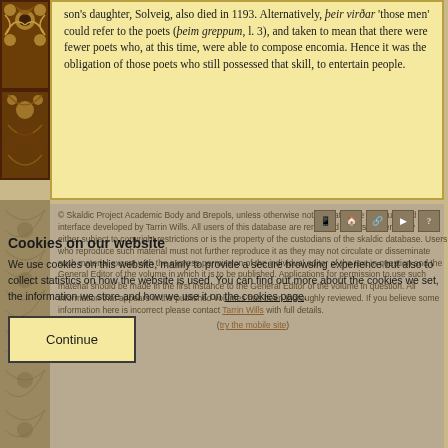son's daughter, Solveig, also died in 1193. Alternatively, þeir virðar 'those men' could refer to the poets (þeim greppum, l. 3), and taken to mean that there were fewer poets who, at this time, were able to compose encomia. Hence it was the obligation of those poets who still possessed that skill, to entertain people.
[Figure (illustration): Decorative brown floral/vine pattern border on the left side of the page]
© Skaldic Project Academic Body and Brepols, unless otherwise noted. Database structure and interface developed by Tarrin Wills. All users of this database are reminded that its content may be either subject to copyright restrictions or is the property of the custodians of the skaldic database. Users who reproduce such material must not further reproduce it as they may not circulate or disseminate such material except with the express permission of the individual editor of the text in question and the General Editor of the volume in which it is to be published. Applications for permission to use such material should be made in the first instance to the General Editor of the volume in question. All information that appears in the published volumes has been thoroughly reviewed. If you believe some information here is incorrect please contact Tarrin Wills with full details.
Cookies on our website
We use cookies on this website, mainly to provide a secure browsing experience but also to collect statistics on how the website is used. You can find out more about the cookies we set, the information we store and how we use it on the cookies page.
Continue
(try the mobile site)